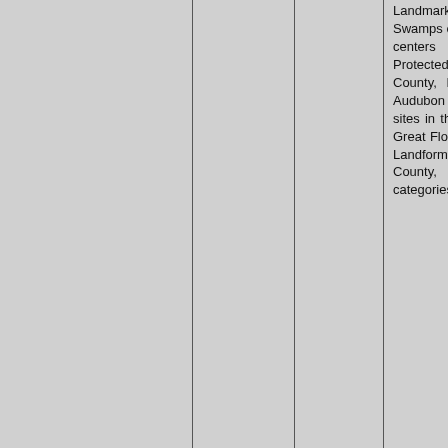[Figure (photo): Photo of a wooden boardwalk with white railings, viewed from a perspective angle, appears to be a nature boardwalk in a swamp or wetland area]
Landmarks in Florida, Swamps of Florida, Nature centers in Florida, Protected areas of Collier County, Florida, National Audubon Society, Ramsar sites in the United States, Great Florida Birding Trail, Landforms of Collier County, Florida, Hidden categories:, Coordinates